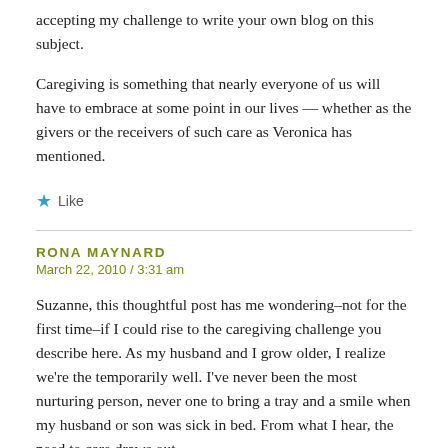accepting my challenge to write your own blog on this subject.
Caregiving is something that nearly everyone of us will have to embrace at some point in our lives — whether as the givers or the receivers of such care as Veronica has mentioned.
★ Like
RONA MAYNARD
March 22, 2010 / 3:31 am
Suzanne, this thoughtful post has me wondering–not for the first time–if I could rise to the caregiving challenge you describe here. As my husband and I grow older, I realize we're the temporarily well. I've never been the most nurturing person, never one to bring a tray and a smile when my husband or son was sick in bed. From what I hear, the need to care draws out